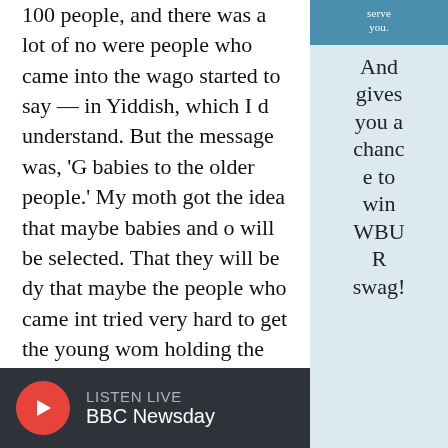100 people, and there was a lot of noise. There were people who came into the wagon and started to say — in Yiddish, which I didn't understand. But the message was, 'Give the babies to the older people.' My mother got the idea that maybe babies and older people will be selected. That they will be dying. And that maybe the people who came into the wagon tried very hard to get the young women who were holding the babies — that they would survive. But can you imagine that a mother would give away her baby under these circumstances? [Being] aware of what was going on?
serve you. And gives you a chance to win WBUR swag!
SHARE YO
LISTEN LIVE
BBC Newsday